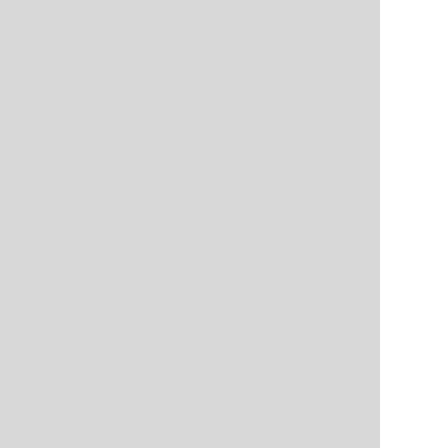essential concepts and terminology. First, Alessandro of the basic techniques to manage streams of events primer on BPM, elaborating on the main concepts, m process management. An advanced view on techniqu given by Alejandro Buchmann. Stefanie Rinderle-Ma with a tutorial on management, utilisation, and analys process management.
The remainder of the seminar week was centred on participants worked on particular topics on the inters event-based systems. In these working groups, parti state-of-the-art and identified the research challenge perspective. In addition, there were two sessions in v very short overview of their recent research work.
Topics and Key Challenges
The working groups focussed on a diverse set of top that need to be addressed:
Event Models for BPM: Semantics of Events and observation that event models are well-established i coupling has obvious benefits, the challenge relates guide the evolution or adaptation of process instance
Towards Automatic Event-Based Monitoring of P of processes is influenced by the availability of patter